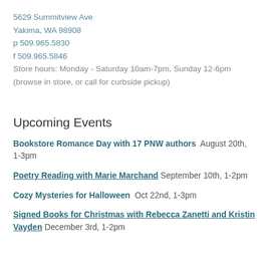5629 Summitview Ave
Yakima, WA 98908
p 509.965.5830
f 509.965.5846
Store hours: Monday - Saturday 10am-7pm, Sunday 12-6pm (browse in store, or call for curbside pickup)
Upcoming Events
Bookstore Romance Day with 17 PNW authors  August 20th, 1-3pm
Poetry Reading with Marie Marchand  September 10th, 1-2pm
Cozy Mysteries for Halloween  Oct 22nd, 1-3pm
Signed Books for Christmas with Rebecca Zanetti and Kristin Vayden  December 3rd, 1-2pm